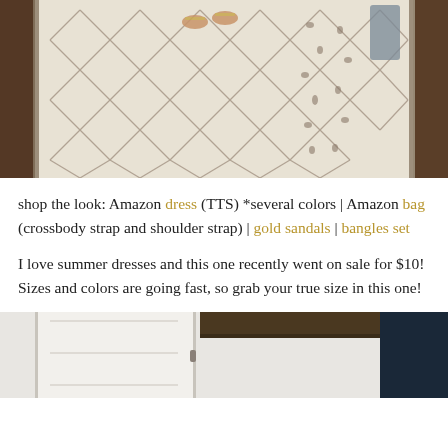[Figure (photo): Mirror selfie photo showing feet/legs with gold sandals standing on a patterned cream and grey Moroccan-style rug with dark wood floor visible. A grey bag is partially visible. The tri-fold mirror reflects the rug pattern.]
shop the look: Amazon dress (TTS) *several colors | Amazon bag (crossbody strap and shoulder strap) | gold sandals | bangles set
I love summer dresses and this one recently went on sale for $10! Sizes and colors are going fast, so grab your true size in this one!
[Figure (photo): Interior room photo showing white walls, dark wood ceiling beams, and what appears to be white built-in cabinetry or shelving.]